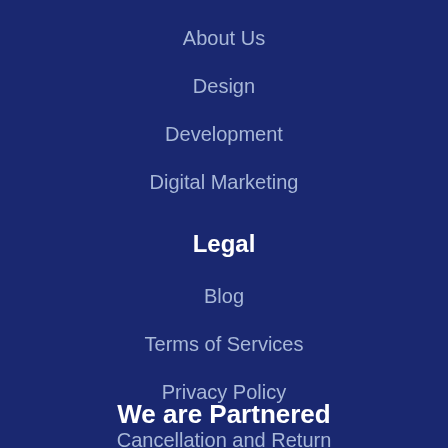About Us
Design
Development
Digital Marketing
Legal
Blog
Terms of Services
Privacy Policy
Cancellation and Return
Contact Us
We are Partnered